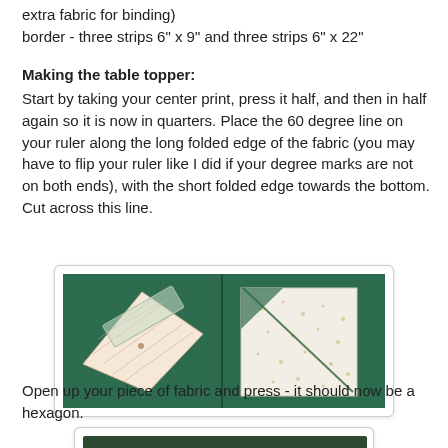extra fabric for binding)
border - three strips 6" x 9" and three strips 6" x 22"
Making the table topper:
Start by taking your center print, press it half, and then in half again so it is now in quarters. Place the 60 degree line on your ruler along the long folded edge of the fabric (you may have to flip your ruler like I did if your degree marks are not on both ends), with the short folded edge towards the bottom. Cut across this line.
[Figure (photo): Two photos side by side on a green cutting mat: left photo shows a folded fabric piece with a ruler placed at a 60-degree angle for cutting; right photo shows the cut fabric piece on the cutting mat with a diagonal cut line visible.]
Open up your piece of fabric and press - it should now be a hexagon.
[Figure (photo): Photo of the opened fabric hexagon on a green cutting mat.]